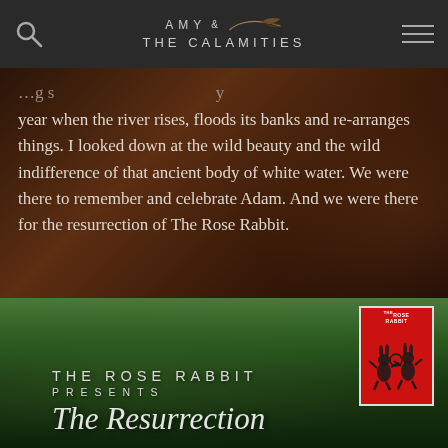[Figure (screenshot): Navigation bar with search icon, 'AMY & THE CALAMITIES' logo with feather graphic, and hamburger menu icon on dark background]
year when the river rises, floods its banks and re-arranges things. I looked down at the wild beauty and the wild indifference of that ancient body of white water. We were there to remember and celebrate Adam. And we were there for the resurrection of The Rose Rabbit.
[Figure (photo): Promotional image for 'THE ROSE RABBIT PRESENTS The Resurrection' — green hedge/bush background with white serif/display text, and a Rose Rabbit magazine poster card in the top right corner showing dancing rabbit silhouettes]